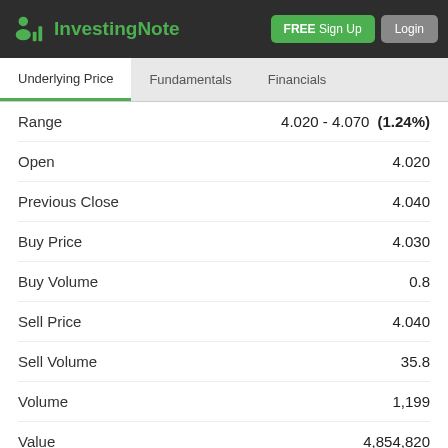InvestingNote | FREE Sign Up | Login
|  |  |
| --- | --- |
| Range | 4.020 - 4.070  (1.24%) |
| Open | 4.020 |
| Previous Close | 4.040 |
| Buy Price | 4.030 |
| Buy Volume | 0.8 |
| Sell Price | 4.040 |
| Sell Volume | 35.8 |
| Volume | 1,199 |
| Value | 4,854,820 |